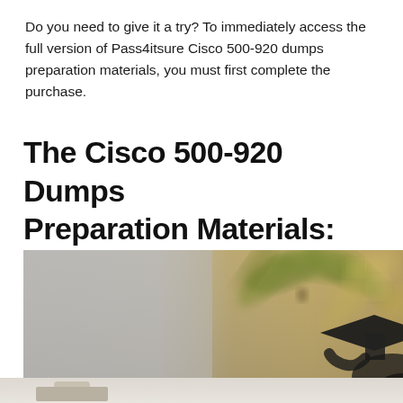Do you need to give it a try? To immediately access the full version of Pass4itsure Cisco 500-920 dumps preparation materials, you must first complete the purchase.
The Cisco 500-920 Dumps Preparation Materials:
[Figure (photo): A blurred graduation photo showing a person in graduation cap and gown with a palm tree in the background. The image has a warm golden-grey color tone. The bottom portion shows what appears to be a desk or table setting.]